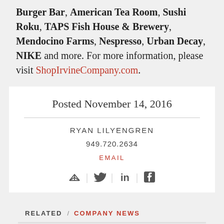Burger Bar, American Tea Room, Sushi Roku, TAPS Fish House & Brewery, Mendocino Farms, Nespresso, Urban Decay, NIKE and more. For more information, please visit ShopIrvineCompany.com.
Posted November 14, 2016
RYAN LILYENGREN
949.720.2634
EMAIL
[Figure (infographic): Social share icons: send/email, Twitter bird, LinkedIn in, Facebook f, separated by vertical lines]
RELATED / COMPANY NEWS